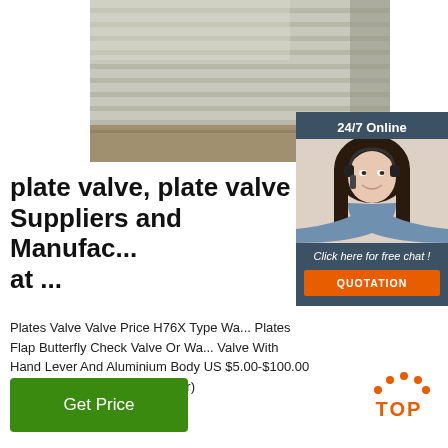[Figure (photo): Photo of metal ribbed/corrugated plate valves stacked, showing aluminum or steel ridged panels]
[Figure (photo): 24/7 Online chat widget with photo of smiling woman with headset, dark blue background, 'Click here for free chat!' text and orange QUOTATION button]
plate valve, plate valve Suppliers and Manufacturers at ...
Plates Valve Valve Price H76X Type Wa... Plates Flap Butterfly Check Valve Or Wa... Valve With Hand Lever And Aluminium Body US $5.00-$100.00 Piece 100.0 Pieces (Min. Order)
[Figure (other): TOP badge with orange dots forming an arc above the word TOP in orange bold text]
Get Price